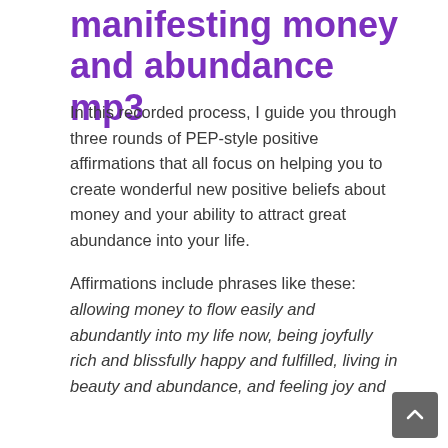manifesting money and abundance mp3
In this recorded process, I guide you through three rounds of PEP-style positive affirmations that all focus on helping you to create wonderful new positive beliefs about money and your ability to attract great abundance into your life.
Affirmations include phrases like these: allowing money to flow easily and abundantly into my life now, being joyfully rich and blissfully happy and fulfilled, living in beauty and abundance, and feeling joy and...